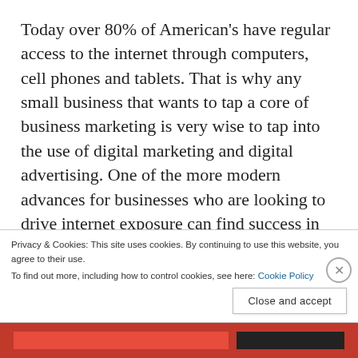Today over 80% of American's have regular access to the internet through computers, cell phones and tablets. That is why any small business that wants to tap a core of business marketing is very wise to tap into the use of digital marketing and digital advertising. One of the more modern advances for businesses who are looking to drive internet exposure can find success in advertising with what is known as internet PPC advertising. That means to set up a digital ad that can be placed on the internet to a focus group of people for a direct
Privacy & Cookies: This site uses cookies. By continuing to use this website, you agree to their use.
To find out more, including how to control cookies, see here: Cookie Policy
Close and accept